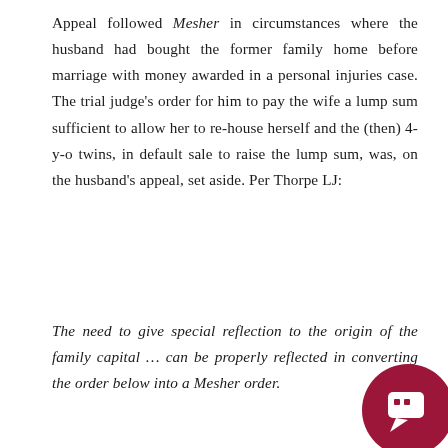Appeal followed Mesher in circumstances where the husband had bought the former family home before marriage with money awarded in a personal injuries case. The trial judge's order for him to pay the wife a lump sum sufficient to allow her to re-house herself and the (then) 4-y-o twins, in default sale to raise the lump sum, was, on the husband's appeal, set aside. Per Thorpe LJ:
The need to give special reflection to the origin of the family capital … can be properly reflected in converting the order below into a Mesher order.
I would quantify the extent of the husband's reversionary interest, or residual interest, at one
[Figure (illustration): Dark red/crimson circle with a white speech bubble / quotation icon inside, positioned at the bottom right of the page.]